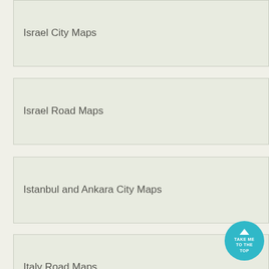Israel City Maps
Israel Road Maps
Istanbul and Ankara City Maps
Italy Road Maps
Italy Road Atlases